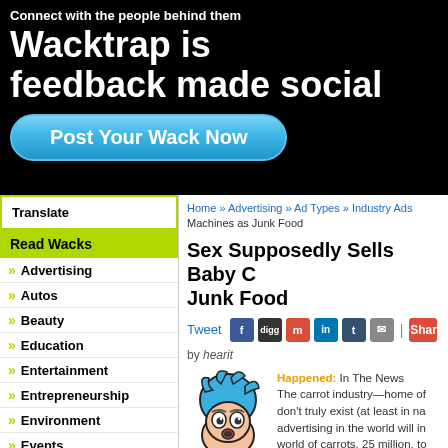Connect with the people behind them
Wacktrap is feedback made social
Post Your Wack Now
Translate
Read Wacks
Advertising
Autos
Beauty
Education
Entertainment
Entrepreneurship
Environment
Events
Government
Home » Advertising » Ad Types » Industry Ads Machines as Junk Food
Sex Supposedly Sells Baby C Junk Food
Tweet
by hearit
[Figure (illustration): Cartoon character with blue hair and wide eyes]
Happened: In The News The carrot industry—home of don't truly exist (at least in na advertising in the world will in world of carrots. 25 million, to